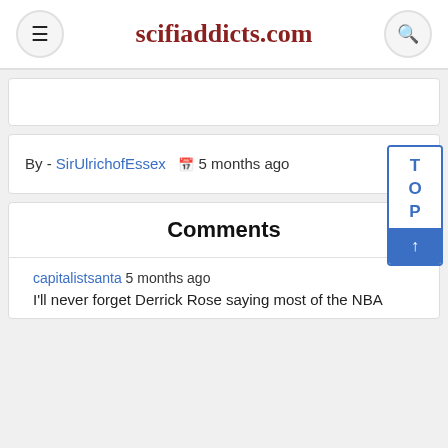scifiaddicts.com
By - SirUlrichofEssex   5 months ago
Comments
capitalistsanta 5 months ago
I'll never forget Derrick Rose saying most of the NBA